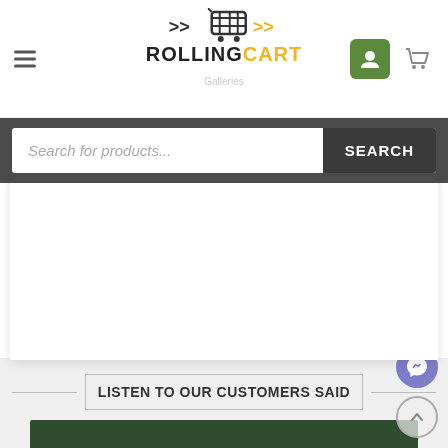[Figure (logo): RollingCart logo with cart icon and yellow/black text]
Search for products...
SEARCH
popularity over the last [...]
LISTEN TO OUR CUSTOMERS SAID
[Figure (screenshot): Dark green video thumbnail area]